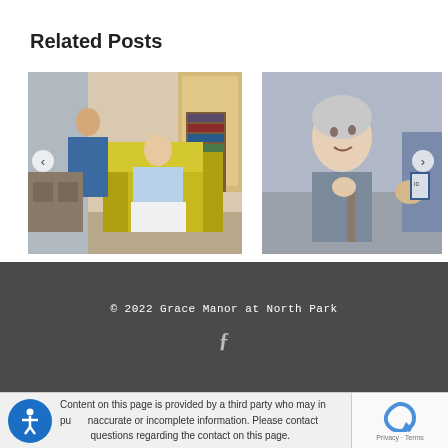Related Posts
[Figure (photo): Nurse in blue scrubs attending to an elderly woman seated in a yellow armchair in a home care setting]
[Figure (photo): Elderly woman with grey hair smiling up at a caregiver who is holding her hand, with a name badge visible]
© 2022 Grace Manor at North Park
Content on this page is provided by a third party who may in pu[blish] inaccurate or incomplete information. Please contact questions regarding the contact on this page.